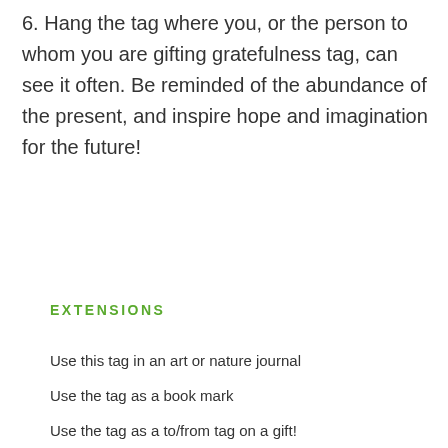6. Hang the tag where you, or the person to whom you are gifting gratefulness tag, can see it often. Be reminded of the abundance of the present, and inspire hope and imagination for the future!
EXTENSIONS
Use this tag in an art or nature journal
Use the tag as a book mark
Use the tag as a to/from tag on a gift!